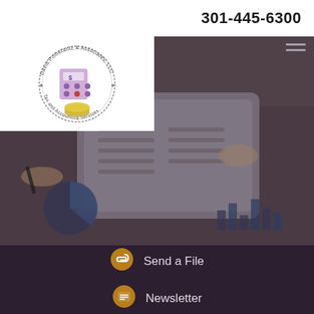301-445-6300
[Figure (logo): David Pomerantz & Associates, LLC — Tax and Accounting Services circular logo with calculator and money imagery]
[Figure (photo): Background photo of two people reviewing financial documents and charts on a tablet, with printed pie charts and bar charts visible on the desk. Image has a dark purple/blue overlay tint.]
Send a File
Newsletter